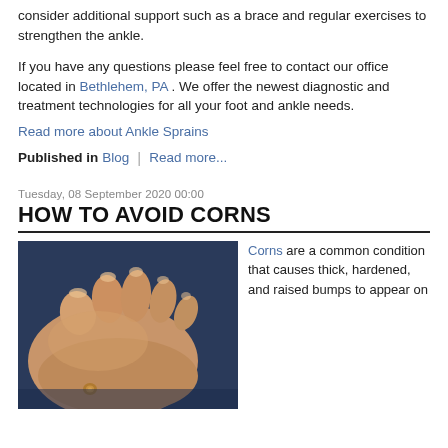consider additional support such as a brace and regular exercises to strengthen the ankle.
If you have any questions please feel free to contact our office located in Bethlehem, PA . We offer the newest diagnostic and treatment technologies for all your foot and ankle needs.
Read more about Ankle Sprains
Published in  Blog  |  Read more...
Tuesday, 08 September 2020 00:00
HOW TO AVOID CORNS
[Figure (photo): Close-up photo of the bottom of a human foot showing toes and a corn on the skin near the ball of the foot, with a dark blurred background.]
Corns are a common condition that causes thick, hardened, and raised bumps to appear on